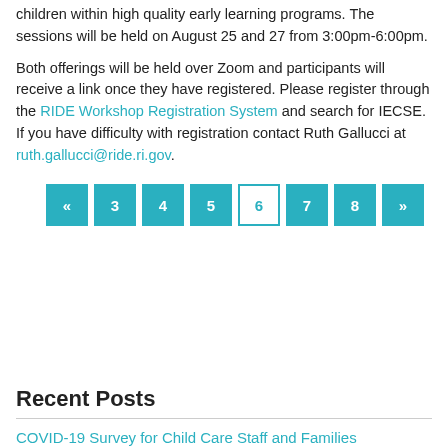children within high quality early learning programs. The sessions will be held on August 25 and 27 from 3:00pm-6:00pm.
Both offerings will be held over Zoom and participants will receive a link once they have registered. Please register through the RIDE Workshop Registration System and search for IECSE. If you have difficulty with registration contact Ruth Gallucci at ruth.gallucci@ride.ri.gov.
Pagination: « 3 4 5 [6] 7 8 »
Recent Posts
COVID-19 Survey for Child Care Staff and Families